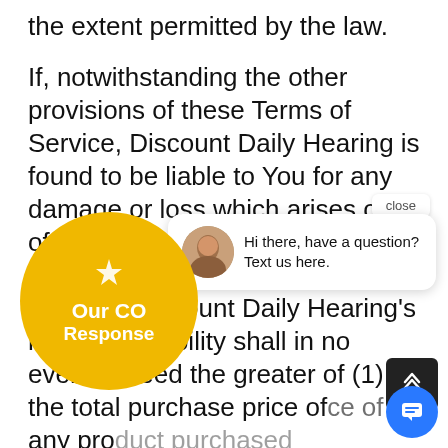the extent permitted by the law.
If, notwithstanding the other provisions of these Terms of Service, Discount Daily Hearing is found to be liable to You for any damage or loss which arises out of or is in any way connected with Your use of the Site or any Content, Discount Daily Hearing's maximum liability shall in no event exceed the greater of (1) the total purchase price of any pro[duct or service purchased or received] from [us through the Site in the twelve (12) mon[ths preceding the claim, or (2) the amount] mac[tually paid by you to Discount Daily Hearing] [during the twelve (12) months preceding] US $1[00. Some] jurisdictions do not all[ow] limitatio[n of lia]bility, so the foregoing limitation may not apply to You.
[Figure (screenshot): Chat popup overlay with 'Hi there, have a question? Text us here.' message and agent avatar, a 'close' button, a COVID response badge (yellow circle), a scroll-up button (dark), and a chat icon button (blue circle).]